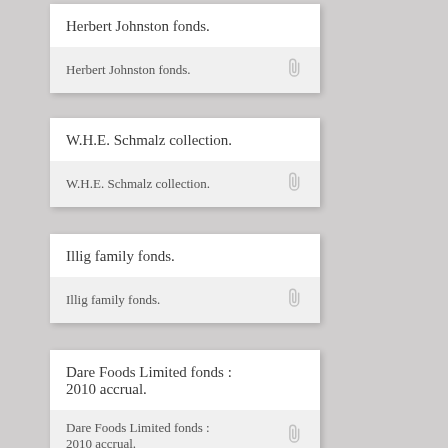Herbert Johnston fonds.
Herbert Johnston fonds.
W.H.E. Schmalz collection.
W.H.E. Schmalz collection.
Illig family fonds.
Illig family fonds.
Dare Foods Limited fonds : 2010 accrual.
Dare Foods Limited fonds : 2010 accrual.